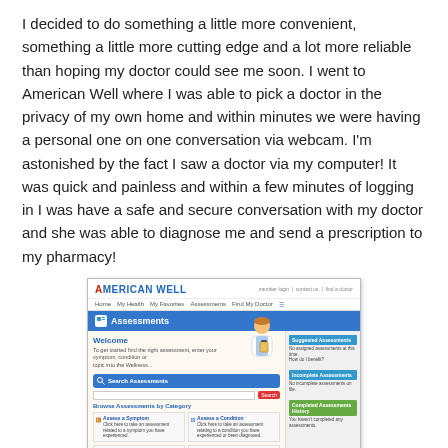I decided to do something a little more convenient, something a little more cutting edge and a lot more reliable than hoping my doctor could see me soon. I went to American Well where I was able to pick a doctor in the privacy of my own home and within minutes we were having a personal one on one conversation via webcam. I'm astonished by the fact I saw a doctor via my computer! It was quick and painless and within a few minutes of logging in I was have a safe and secure conversation with my doctor and she was able to diagnose me and send a prescription to my pharmacy!
[Figure (screenshot): Screenshot of the American Well website showing the Assessments page with a welcome message, search bar, browse by category grid, and sidebar with assessment sections.]
I love the fact that American Well is always open—24/7, 365 days a year